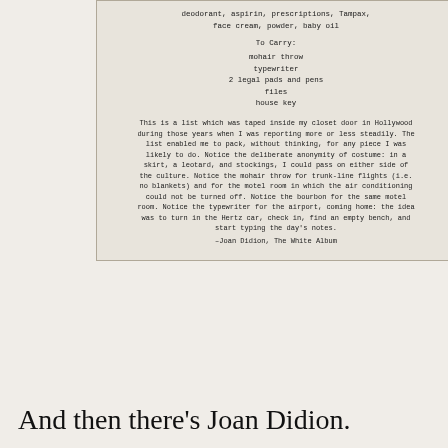[Figure (photo): A scanned/photographed typewritten document page showing a packing list and a paragraph excerpt from Joan Didion's The White Album]
And then there's Joan Didion.